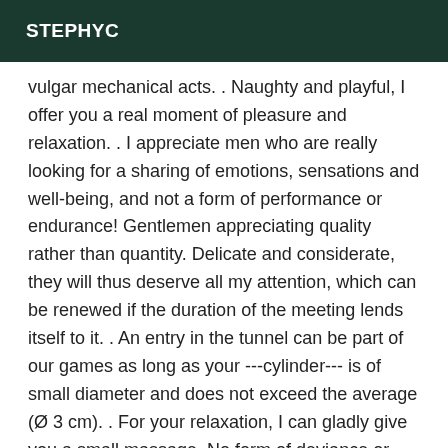STEPHYC
vulgar mechanical acts. . Naughty and playful, I offer you a real moment of pleasure and relaxation. . I appreciate men who are really looking for a sharing of emotions, sensations and well-being, and not a form of performance or endurance! Gentlemen appreciating quality rather than quantity. Delicate and considerate, they will thus deserve all my attention, which can be renewed if the duration of the meeting lends itself to it. . An entry in the tunnel can be part of our games as long as your ---cylinder--- is of small diameter and does not exceed the average (Ø 3 cm). . For your relaxation, I can gladly give you a small massage. No form of deviance or vulgarity (practices *) will be tolerated. I do not practice any form of fetishism or soft or hard domination. I offer and demand impeccable hygiene. A shower is possible on site. MY SERVICES WILL OFFER YOU A DISCOVERY MY CONDITIONS : Incall (I receive you) : I welcome you in my cosy little nest, located directly in